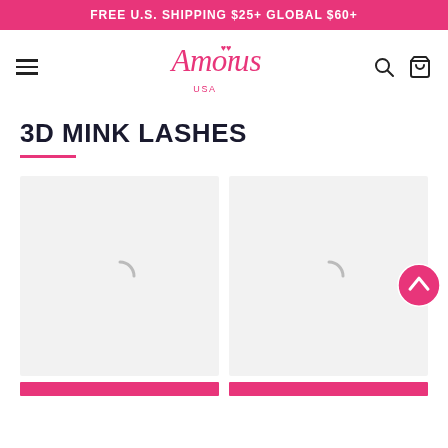FREE U.S. SHIPPING $25+ GLOBAL $60+
[Figure (logo): Amor Us USA logo in pink script with heart motif]
3D MINK LASHES
[Figure (other): Loading product card placeholder with spinner, left column]
[Figure (other): Loading product card placeholder with spinner, right column]